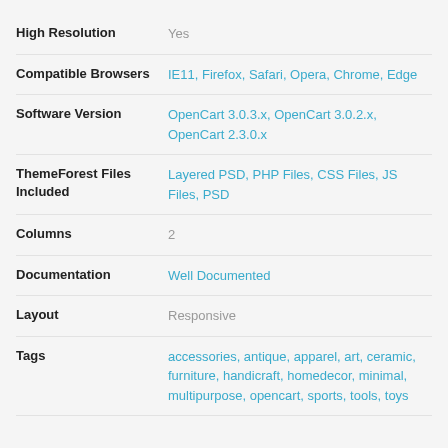High Resolution: Yes
Compatible Browsers: IE11, Firefox, Safari, Opera, Chrome, Edge
Software Version: OpenCart 3.0.3.x, OpenCart 3.0.2.x, OpenCart 2.3.0.x
ThemeForest Files Included: Layered PSD, PHP Files, CSS Files, JS Files, PSD
Columns: 2
Documentation: Well Documented
Layout: Responsive
Tags: accessories, antique, apparel, art, ceramic, furniture, handicraft, homedecor, minimal, multipurpose, opencart, sports, tools, toys